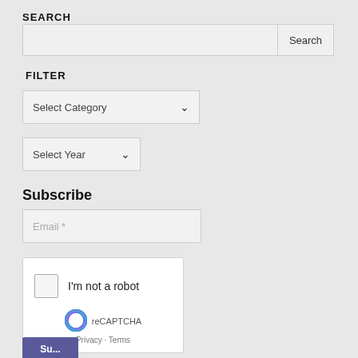SEARCH
[Figure (screenshot): Search input field with a Search button on the right]
FILTER
[Figure (screenshot): Select Category dropdown]
[Figure (screenshot): Select Year dropdown]
Subscribe
[Figure (screenshot): Email input field with placeholder 'Email *']
[Figure (screenshot): reCAPTCHA widget with checkbox 'I'm not a robot', reCAPTCHA logo, Privacy and Terms links]
[Figure (screenshot): Subscribe button (partially visible)]